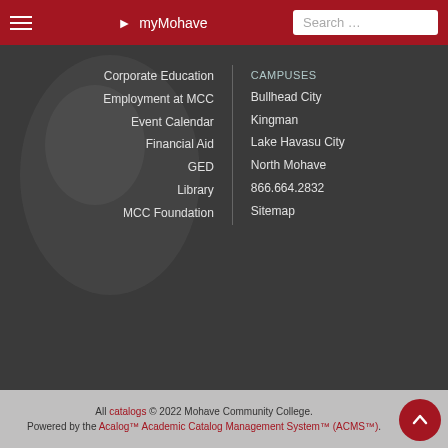myMohave | Search …
Corporate Education
Employment at MCC
Event Calendar
Financial Aid
GED
Library
MCC Foundation
CAMPUSES
Bullhead City
Kingman
Lake Havasu City
North Mohave
866.664.2832
Sitemap
All catalogs © 2022 Mohave Community College. Powered by the Acalog™ Academic Catalog Management System™ (ACMS™).